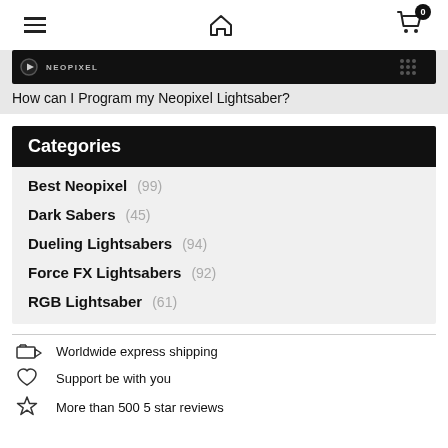Navigation header with hamburger menu, home icon, and cart with badge 0
[Figure (screenshot): Video thumbnail strip showing a dark video player with play button and logo text, partially cut off at top]
How can I Program my Neopixel Lightsaber?
Categories
Best Neopixel (99)
Dark Sabers (45)
Dueling Lightsabers (94)
Force FX Lightsabers (92)
RGB Lightsaber (61)
Worldwide express shipping
Support be with you
More than 500 5 star reviews